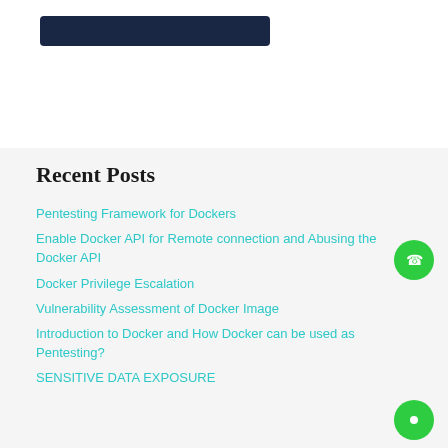[Figure (other): Dark navy blue rounded rectangle bar at top of page]
Recent Posts
Pentesting Framework for Dockers
Enable Docker API for Remote connection and Abusing the Docker API
Docker Privilege Escalation
Vulnerability Assessment of Docker Image
Introduction to Docker and How Docker can be used as Pentesting?
SENSITIVE DATA EXPOSURE